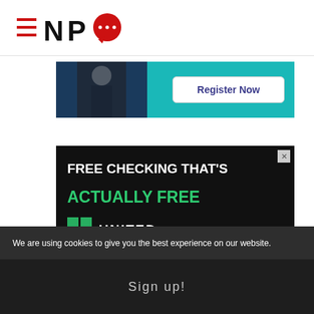[Figure (logo): NPQ logo with hamburger menu icon, N, P, and red speech bubble Q]
[Figure (other): Medical advertisement banner with teal background showing a doctor and a Register Now button]
[Figure (other): Bank advertisement with black background: FREE CHECKING THAT'S ACTUALLY FREE, United bank logo]
We are using cookies to give you the best experience on our website.
Sign up!